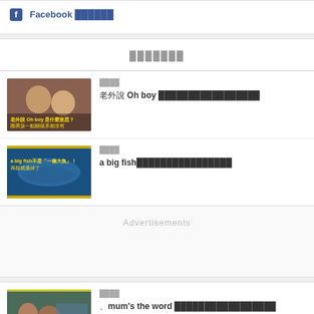Facebook ██████
███████
[Figure (photo): Two boys photo thumbnail with Chinese text overlay about 'Oh boy']
████
老外說 Oh boy █████████████████
[Figure (photo): Whale/big fish underwater photo thumbnail with Chinese text about 'a big fish']
████
a big fish████████████████
Advertisements
[Figure (photo): Third article thumbnail partially visible at bottom]
████
、mum's the word █████████████████